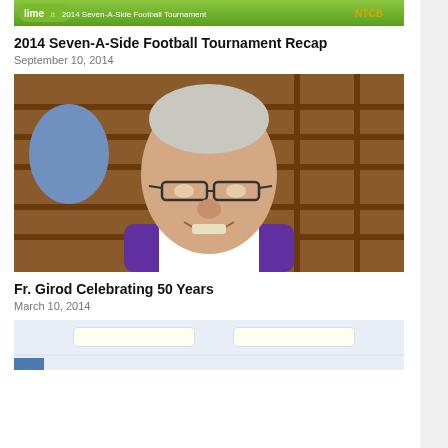[Figure (photo): Banner image for 2014 Seven-A-Side Football Tournament with lime.tt and NTCB logos on a green gradient background]
2014 Seven-A-Side Football Tournament Recap
September 10, 2014
[Figure (photo): Portrait photo of Fr. Girod, an elderly man wearing glasses and a purple garment with white collar, smiling, seated in front of wooden shelving]
Fr. Girod Celebrating 50 Years
March 10, 2014
[Figure (photo): Partial view of an interior room with white ceiling and fluorescent lighting, appearing to be a community or meeting room]